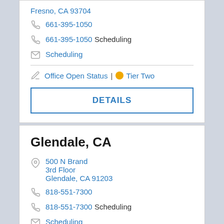Fresno, CA 93704
661-395-1050
661-395-1050 Scheduling
Scheduling
Office Open Status | Tier Two
DETAILS
Glendale, CA
500 N Brand
3rd Floor
Glendale, CA 91203
818-551-7300
818-551-7300 Scheduling
Scheduling